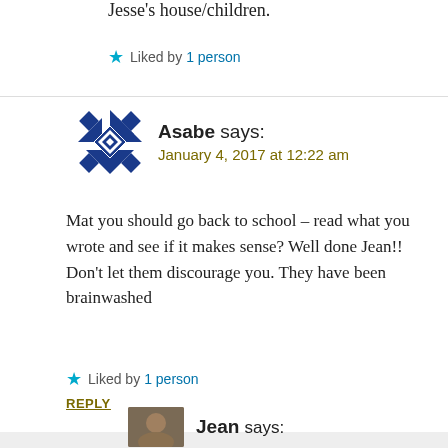Jesse's house/children.
Liked by 1 person
Asabe says: January 4, 2017 at 12:22 am
Mat you should go back to school – read what you wrote and see if it makes sense? Well done Jean!! Don't let them discourage you. They have been brainwashed
Liked by 1 person
REPLY
Jean says: